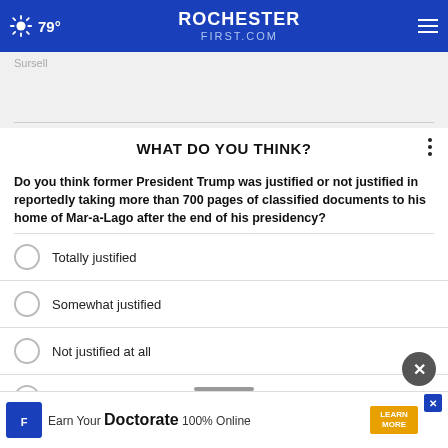79° ROCHESTER FIRST.COM
Sursell
WHAT DO YOU THINK?
Do you think former President Trump was justified or not justified in reportedly taking more than 700 pages of classified documents to his home of Mar-a-Lago after the end of his presidency?
Totally justified
Somewhat justified
Not justified at all
Other / No opinion
[Figure (screenshot): Advertisement banner: Franklin University - Earn Your Doctorate 100% Online]